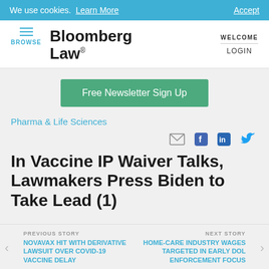We use cookies. Learn More  Accept
[Figure (logo): Bloomberg Law logo with hamburger menu and BROWSE label]
Free Newsletter Sign Up
Pharma & Life Sciences
[Figure (other): Social sharing icons: email, Facebook, LinkedIn, Twitter]
In Vaccine IP Waiver Talks, Lawmakers Press Biden to Take Lead (1)
PREVIOUS STORY: NOVAVAX HIT WITH DERIVATIVE LAWSUIT OVER COVID-19 VACCINE DELAY | NEXT STORY: HOME-CARE INDUSTRY WAGES TARGETED IN EARLY DOL ENFORCEMENT FOCUS